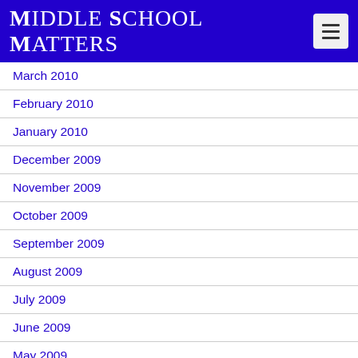Middle School Matters
March 2010
February 2010
January 2010
December 2009
November 2009
October 2009
September 2009
August 2009
July 2009
June 2009
May 2009
April 2009
March 2009